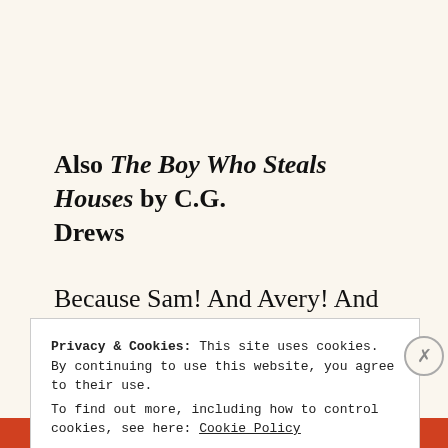Also The Boy Who Steals Houses by C.G. Drews
Because Sam! And Avery! And the ENDING. And the MIDDLE. AND BASICALLY THE
Privacy & Cookies: This site uses cookies. By continuing to use this website, you agree to their use. To find out more, including how to control cookies, see here: Cookie Policy
Close and accept